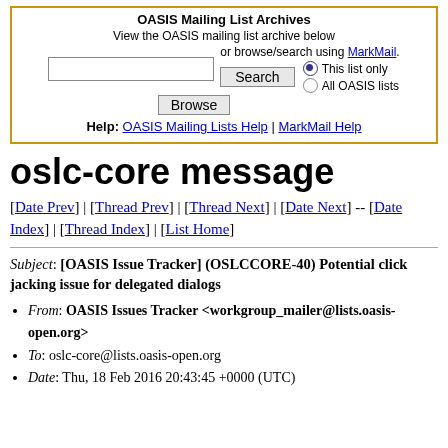[Figure (screenshot): OASIS Mailing List Archives search box with gold border, search input, Search button, Browse button, radio buttons for 'This list only' and 'All OASIS lists', and help links to OASIS Mailing Lists Help and MarkMail Help]
oslc-core message
[Date Prev] | [Thread Prev] | [Thread Next] | [Date Next] -- [Date Index] | [Thread Index] | [List Home]
Subject: [OASIS Issue Tracker] (OSLCCORE-40) Potential click jacking issue for delegated dialogs
From: OASIS Issues Tracker <workgroup_mailer@lists.oasis-open.org>
To: oslc-core@lists.oasis-open.org
Date: Thu, 18 Feb 2016 20:43:45 +0000 (UTC)